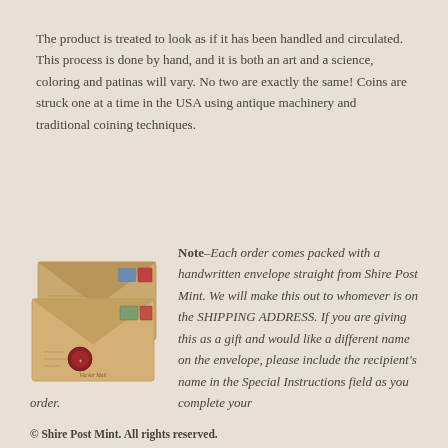The product is treated to look as if it has been handled and circulated. This process is done by hand, and it is both an art and a science, coloring and patinas will vary. No two are exactly the same! Coins are struck one at a time in the USA using antique machinery and traditional coining techniques.
[Figure (photo): Two golden/tan handwritten envelopes with stamps and a red wax seal, from Shire Post Mint]
Note–Each order comes packed with a handwritten envelope straight from Shire Post Mint. We will make this out to whomever is on the SHIPPING ADDRESS. If you are giving this as a gift and would like a different name on the envelope, please include the recipient's name in the Special Instructions field as you complete your order.
© Shire Post Mint. All rights reserved.